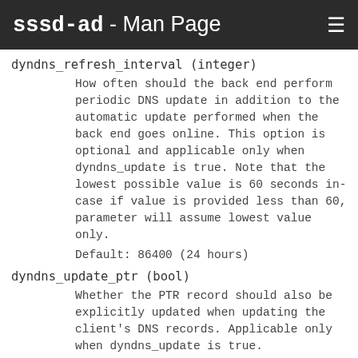sssd-ad - Man Page
dyndns_refresh_interval (integer)
How often should the back end perform periodic DNS update in addition to the automatic update performed when the back end goes online. This option is optional and applicable only when dyndns_update is true. Note that the lowest possible value is 60 seconds in-case if value is provided less than 60, parameter will assume lowest value only.
Default: 86400 (24 hours)
dyndns_update_ptr (bool)
Whether the PTR record should also be explicitly updated when updating the client's DNS records. Applicable only when dyndns_update is true.
Default: True
dyndns_force_tcp (bool)
Whether the nsupdate utility should default to using TCP for communicating with the DNS server.